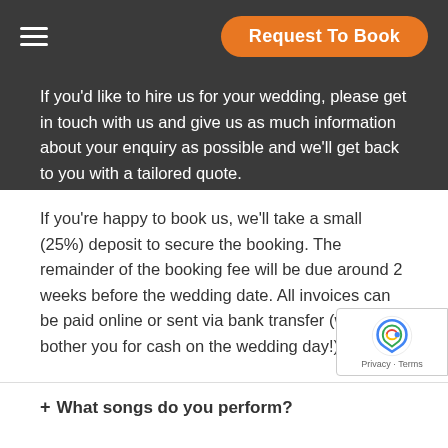Request To Book
If you'd like to hire us for your wedding, please get in touch with us and give us as much information about your enquiry as possible and we'll get back to you with a tailored quote.
If you're happy to book us, we'll take a small (25%) deposit to secure the booking. The remainder of the booking fee will be due around 2 weeks before the wedding date. All invoices can be paid online or sent via bank transfer (we won't bother you for cash on the wedding day!).
+ What songs do you perform?